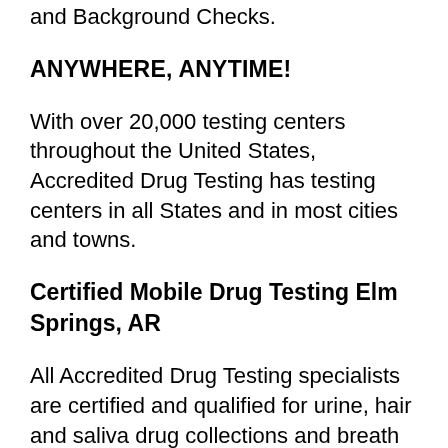and Background Checks.
ANYWHERE, ANYTIME!
With over 20,000 testing centers throughout the United States, Accredited Drug Testing has testing centers in all States and in most cities and towns.
Certified Mobile Drug Testing Elm Springs, AR
All Accredited Drug Testing specialists are certified and qualified for urine, hair and saliva drug collections and breath alcohol screenings for DOT and NON-DOT Drug and Alcohol Testing.
Which Drug Testing Panel Is Right For You?
Drug test screening groups are commonly referred to as a drug testing panel. The most common panels used are a 5